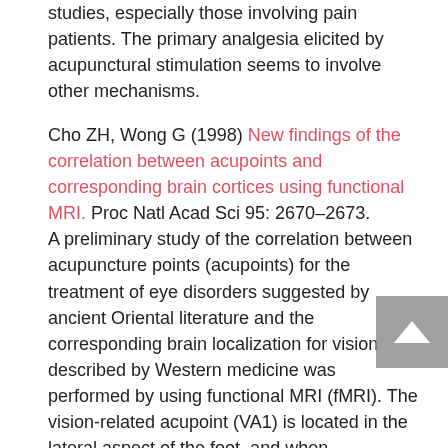studies, especially those involving pain patients. The primary analgesia elicited by acupunctural stimulation seems to involve other mechanisms.
Cho ZH, Wong G (1998) New findings of the correlation between acupoints and corresponding brain cortices using functional MRI. Proc Natl Acad Sci 95: 2670–2673.
A preliminary study of the correlation between acupuncture points (acupoints) for the treatment of eye disorders suggested by ancient Oriental literature and the corresponding brain localization for vision described by Western medicine was performed by using functional MRI (fMRI). The vision-related acupoint (VA1) is located in the lateral aspect of the foot, and when acupuncture stimulation is performed there, activation of occipital lobes is seen by